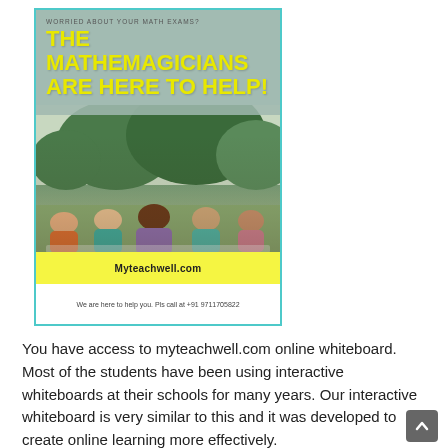[Figure (illustration): Promotional poster for Myteachwell.com showing 'The Mathemagicians Are Here To Help!' with students lying on grass studying, a yellow banner with the website name, and contact info at the bottom.]
You have access to myteachwell.com online whiteboard. Most of the students have been using interactive whiteboards at their schools for many years. Our interactive whiteboard is very similar to this and it was developed to create online learning more effectively.